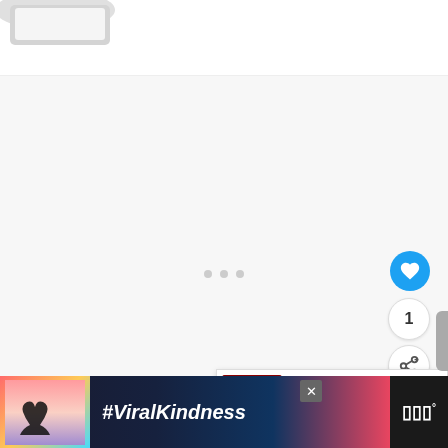[Figure (screenshot): Top of a webpage showing a laptop corner in the upper-left area against white background]
[Figure (screenshot): Main content loading area with three small gray dots indicating loading state, a blue circular like/heart button, a counter showing 1, and a share button on the right side]
[Figure (screenshot): What's Next widget showing a thumbnail image and text 'WHAT'S NEXT → Is Singapore Cheap 2022']
[Figure (screenshot): Advertisement banner at bottom with heart hands silhouette, '#ViralKindness' text, and a logo on the right]